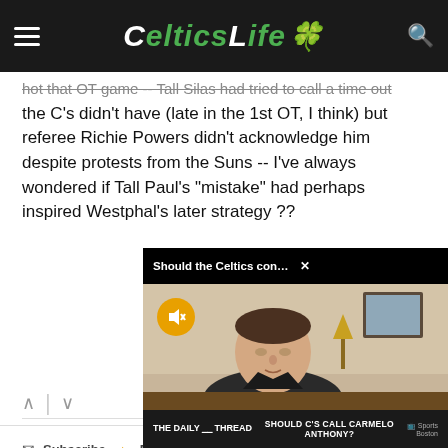CelticsLife
the C's didn't have (late in the 1st OT, I think) but referee Richie Powers didn't acknowledge him despite protests from the Suns -- I've always wondered if Tall Paul's "mistake" had perhaps inspired Westphal's later strategy ??
[Figure (screenshot): Video popup overlay with title 'Should the Celtics consider Carmelo Ant...' showing a man speaking on a news segment titled 'Should C's Call Carmelo Anthony?' on The Daily Thread]
Subscribe | Do Not Sell My Data   DISQUS